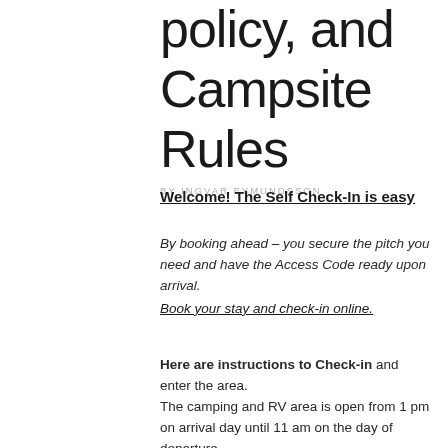policy, and Campsite Rules
BY INGVAR EYMUNDSSON
Welcome! The Self Check-In is easy
By booking ahead – you secure the pitch you need and have the Access Code ready upon arrival.
Book your stay and check-in online.
Here are instructions to Check-in and enter the area.
The camping and RV area is open from 1 pm on arrival day until 11 am on the day of departure.
A late Check-In is possible if you have pre-booked.